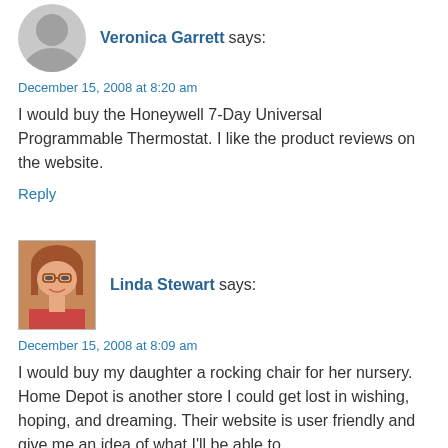Veronica Garrett says:
December 15, 2008 at 8:20 am
I would buy the Honeywell 7-Day Universal Programmable Thermostat. I like the product reviews on the website.
Reply
Linda Stewart says:
December 15, 2008 at 8:09 am
I would buy my daughter a rocking chair for her nursery. Home Depot is another store I could get lost in wishing, hoping, and dreaming. Their website is user friendly and give me an idea of what I'll be able to